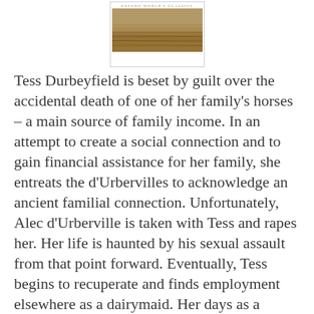[Figure (illustration): Book cover of 'Tess of the d'Urbervilles', showing a sepia/brown image of a field, with small text reading 'Oxford World's Classics' at top]
Tess Durbeyfield is beset by guilt over the accidental death of one of her family's horses – a main source of family income. In an attempt to create a social connection and to gain financial assistance for her family, she entreats the d'Urbervilles to acknowledge an ancient familial connection. Unfortunately, Alec d'Urberville is taken with Tess and rapes her. Her life is haunted by his sexual assault from that point forward. Eventually, Tess begins to recuperate and finds employment elsewhere as a dairymaid. Her days as a dairymaid are happy and peaceful until she falls in love with Angel Clare. She agonizes over telling him of her tainted past, and when she confesses the truth on her wedding night, Angel is repulsed over her past and her deception of waiting to tell him. Tess is parted from her true love and never fully recovers, even when he returns to her.
Tess of the d'Urbervilles is more than a sad story. It pays homage to the type of unhealthy family atmospheres that many children are raised in. The death of the horse is a